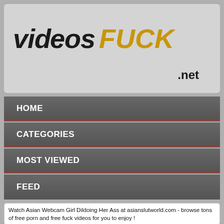[Figure (logo): VideosFUCK.net logo with dark italic 'videos' text and gold italic 'FUCK' text, '.net' below in dark text]
HOME
CATEGORIES
MOST VIEWED
FEED
Watch Asian Webcam Girl Dildoing Her Ass at asianslutworld.com - browse tons of free porn and free fuck videos for you to enjoy !
[Figure (screenshot): Video thumbnail showing Asian Webcam Girl Dildoing Her Ass with play button overlay]